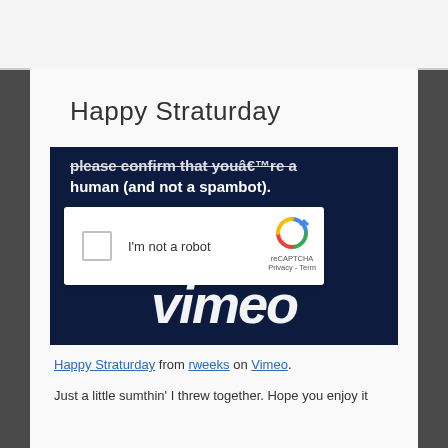Happy Straturday
[Figure (screenshot): A Vimeo video embed showing a dark navy background with white text 'please confirm that youâ€™re a human (and not a spambot).' overlaid with a reCAPTCHA widget showing a checkbox labeled 'I'm not a robot' with a reCAPTCHA logo, and the Vimeo logo in large italic text at the bottom.]
Happy Straturday from rweeks on Vimeo.
Just a little sumthin' I threw together. Hope you enjoy it.